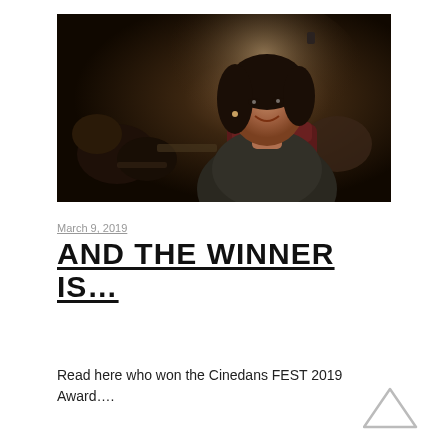[Figure (photo): A woman with dark hair smiling at the camera while seated in a cinema/theater audience setting. Other audience members are visible in the background in a darkened room.]
March 9, 2019
AND THE WINNER IS…
Read here who won the Cinedans FEST 2019 Award….